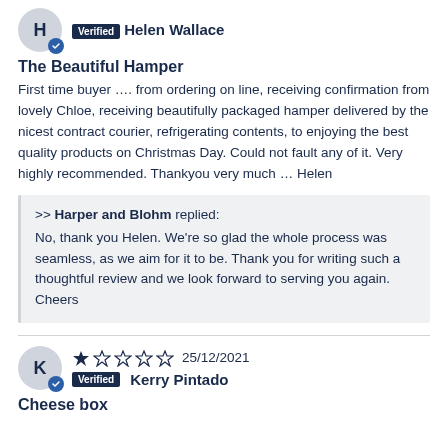H — Verified Helen Wallace
The Beautiful Hamper
First time buyer …. from ordering on line, receiving confirmation from lovely Chloe, receiving beautifully packaged hamper delivered by the nicest contract courier, refrigerating contents, to enjoying the best quality products on Christmas Day. Could not fault any of it. Very highly recommended. Thankyou very much … Helen
>> Harper and Blohm replied: No, thank you Helen. We're so glad the whole process was seamless, as we aim for it to be. Thank you for writing such a thoughtful review and we look forward to serving you again. Cheers
K — Verified Kerry Pintado — 1 star — 25/12/2021
Cheese box